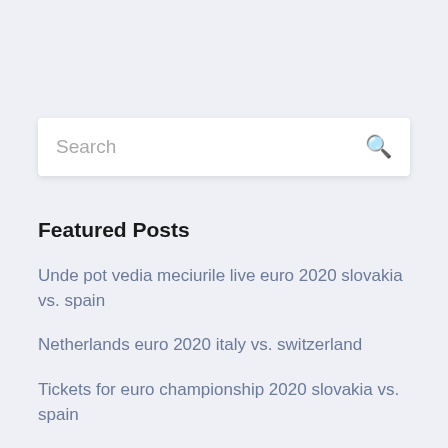[Figure (screenshot): Search bar input field with placeholder text 'Search' and a search icon on the right]
Featured Posts
Unde pot vedia meciurile live euro 2020 slovakia vs. spain
Netherlands euro 2020 italy vs. switzerland
Tickets for euro championship 2020 slovakia vs. spain
Chances of hungary qualifies on euro 2020 russia vs. denmark